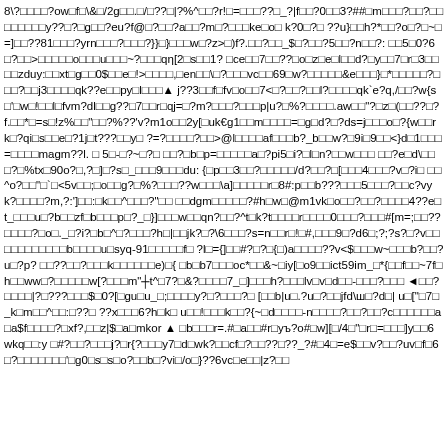8\?□□□□?ow□f□\&□/2g□□.□/□??□|?%^□□?r!□=□□□??□_?|f□□?0□□3?##□m□□□?□□?□□□□□□□□y??□?□g□□?eu?f@□?□□?a□□?m□?□□□ke□o□ k?0□?□ ??u}□□h?*□□?o□?□~□=]□□??81□□□?yrn□□□?□□□?}}□}□□□w□?z>□)f?.□□?□□_$□?□□?5□□?n□□?: □□5□0?6□?□□>□□□□□o□□□u□□□~?□□□qη[2□s□□1? □ce□□7□□??□o□z□e□l□□d?□y□□7□r□3□□□□zduy:□□xt□g□□0$□□e□!>□□□□,□en□□\□?□□□vc□□69□w?□□□□□&e□□□}□*□□□□□?□□□?□□j3□□□□qk??e□□py□l□□□▲ j??3□□f□fv□o□□7<□?□□?□□l?□□□□qk`e?q,/□□?w{s□'□w□!□□l□fvm?dl□□g??□7□□r□qj=□?m?□□□?□□□p|u?□%?□□□□.aw□□"?□z□(□□??□?f.□□*□=s□!z%□□"□□?%??'v?m1o□□2y[□uk€g1□□m□□□□=□g□d?□?ds=j□□□o□?{w□□r k□?qi□s□□e□?1j□t???□□y□ ?=?□□□□?□□>@l□□□□af□□□b?_b□□w?□9i□9□□<}d□1□□□=□□□□magm??l. □ 5□-□?~□?□ □□?□b□p=□□□□□a□?pi5□i?□l□n?□□w□□□ □□?e□d\□□□?□%tx□90o?□,?□]□?s□_□□□9□□□du: {□p□□3□□?□□□□□/d?□□?□[□□□4□□□?v□?i□ □□^o?□□"□`□<5v□□;□o□□g?□%?□□□??w□□□\a]□□□□□r□8#:p□□b???□□□5□□□?□□c?vyk?□□□□?m,?:']□□:□k□□^□□□?"□□ □□dgm□□□□□?#h□w□@m1vk□o□□?□□?□□□□4??e□t_□□□u□?b□□zf□b□□□p□?_□}]□□□w□□qn?□□?^t□k?t□□□□r□□□□0□□□?□□□#[m=;□□??□□□□?□o□._□?i?□b□^□?□□□?h□|□□jk?□?\6□□□?s=n□□r□!□#,□□□9□?d6□;?;?s?□?v□□□□□□□□□□□b□□□□u□syq-91□□□□□f□ ?l□={]□□#?□?□{□)a□□□□??v<$□□□w~□□□b?□□?u□?p? □□??□□?□□□k□□□□□□e)□{ □b□b7□□□oc*□□&~□iy[□o9□□ict59im_□*{□□f□□~7f□h□□ww□?□□□□□w[?□□□m"┼t^□7?□&?□□□□7_□]□□□h?□□□lv□v□d□□-□□□?□□□ ◄□□?□□□□|?□???□□□$□0?[□gu□u_□;□□□□y?□?□□□?□ [□□b|u□.?u□?□□jfd\ш□?d□| u□["□7□_k□m□□^□□:□??□ ??x□□□6?h□k□ u□□!□□□k□□?{~□d□□□□-n□□□□?□□?□□?c□□□□□□a□a$f□□□□?□xf?,□□z|$□a□mkor ▲ □b□□□r=.#□a□□#r□уъ?o#□w][□/4□"□r□=□□□]y□□6 wkq□□:y □#?□□?□□□j?□r{?□□□y7□d□wk?□□cf□?□□??□??_?#□4□=e$□□v?□□?uv□f□6□?□□□□□□□'□g0□s□s□o?□□b□?vi□/o□}??6vc□e□□|z?□□